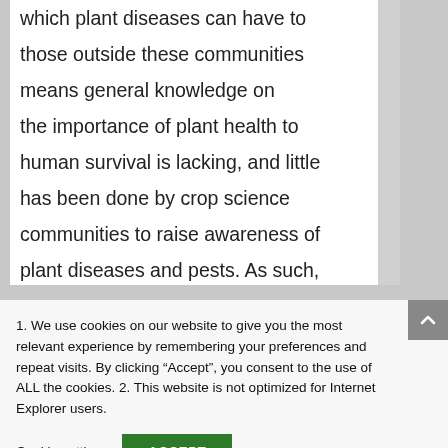which plant diseases can have to those outside these communities means general knowledge on the importance of plant health to human survival is lacking, and little has been done by crop science communities to raise awareness of plant diseases and pests. As such, people unknowingly participate in
1. We use cookies on our website to give you the most relevant experience by remembering your preferences and repeat visits. By clicking “Accept”, you consent to the use of ALL the cookies. 2. This website is not optimized for Internet Explorer users.
Cookie settings
ACCEPT